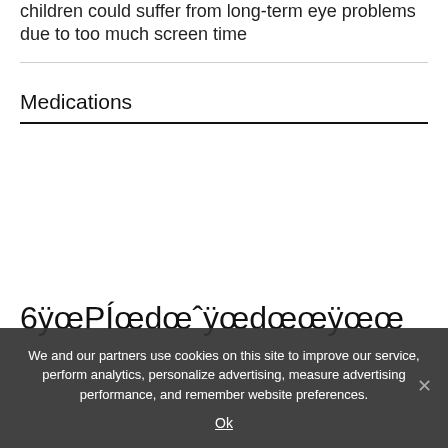children could suffer from long-term eye problems due to too much screen time
Medications
6ÿœPÍœdœˆÿœdœœÿœœ
We and our partners use cookies on this site to improve our service, perform analytics, personalize advertising, measure advertising performance, and remember website preferences.
Ok